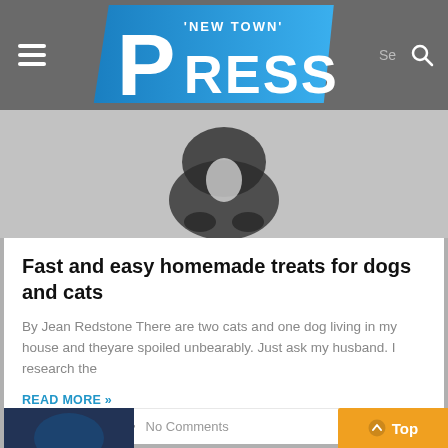'New Town' Press
[Figure (photo): Partial view of a black and white cat lying down, shown from above on a grey background]
Fast and easy homemade treats for dogs and cats
By Jean Redstone There are two cats and one dog living in my house and theyare spoiled unbearably. Just ask my husband. I research the
READ MORE »
February 1, 2019 • No Comments